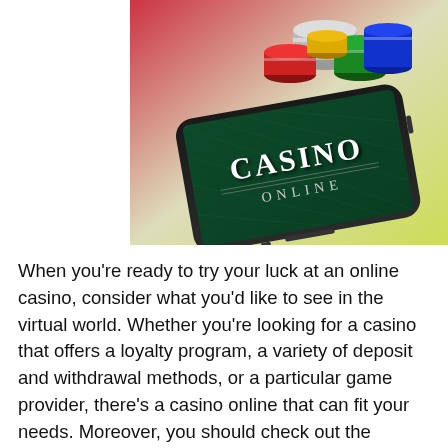[Figure (photo): A smartphone lying at an angle displaying a Casino Online green felt table background with colorful casino chips (red, green, blue, gold, silver) stacked on top of it. The phone screen shows the text CASINO ONLINE. Background has red and yellow-green gradient colors.]
When you're ready to try your luck at an online casino, consider what you'd like to see in the virtual world. Whether you're looking for a casino that offers a loyalty program, a variety of deposit and withdrawal methods, or a particular game provider, there's a casino online that can fit your needs. Moreover, you should check out the casino's licensing and customer support hours. A legitimate license ensures safety and security,